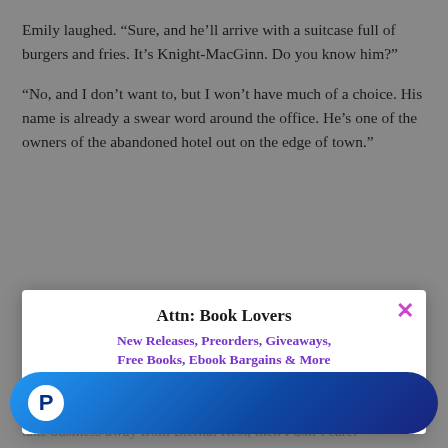Emily laughed. “Sure, and he’ll arrive with a suitcase full of burgers and fries. It’s Knight-MacGinn. Do you know him?”
“No, and I don’t want to, but I won’t have much of a choice. His name is already a swear word around the office. He’s one of the owners of the abandoned hotel out on the edge of town.”
Emily’s eyes widened. “Really? What’s he doing in town?”
Jen wrinkled her nose. “He and his partner want to renovate the hotel and turn it into a resort.”
“What’s wrong with that?” Sage asked.
[Figure (infographic): Popup overlay: 'Attn: Book Lovers' with subtitle 'New Releases, Preorders, Giveaways, Free Books, Ebook Bargains & More Delivered Right to Your Inbox Daily!' and an Email input field. Purple X close button in top right.]
[Figure (other): PayPal button - blue gradient rounded button with PayPal white circle icon on left]
take business away from Eternal Rest, then I don’t care.”